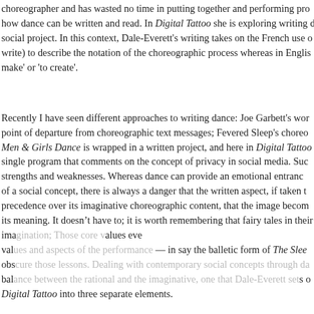choreographer and has wasted no time in putting together and performing pro
how dance can be written and read. In Digital Tattoo she is exploring writing da
social project. In this context, Dale-Everett's writing takes on the French use o
write) to describe the notation of the choreographic process whereas in Englis
make' or 'to create'.
Recently I have seen different approaches to writing dance: Joe Garbett's wor
point of departure from choreographic text messages; Fevered Sleep's choreo
Men & Girls Dance is wrapped in a written project, and here in Digital Tattoo is
single program that comments on the concept of privacy in social media. Suc
strengths and weaknesses. Whereas dance can provide an emotional entranc
of a social concept, there is always a danger that the written aspect, if taken t
precedence over its imaginative choreographic content, that the image becom
its meaning. It doesn't have to; it is worth remembering that fairy tales in their v
imagination; Those core values even
values and aspects of the performance — in say the balletic form of The Slee
obscure those lessons. Dealing with contemporary social concepts through da
balance between the rational and the imaginative, one that Dale-Everett sets o
Digital Tattoo into three separate elements.
The first, Artefact 1, is a short film, subsequently picked up by Channel 4's Ra
Privacy & Cookies: This site uses cookies. By continuing to use this website, you agree to their use. To find out more, including how to control cookies, see here: Cookie Policy